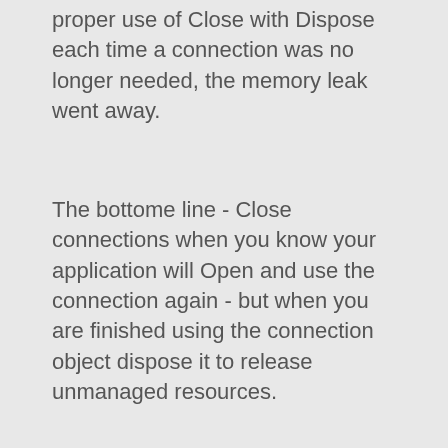proper use of Close with Dispose each time a connection was no longer needed, the memory leak went away.
The bottome line - Close connections when you know your application will Open and use the connection again - but when you are finished using the connection object dispose it to release unmanaged resources.
Here is another article you may find helpful. It is not specific to connections but it does empasize the importance of Disposing ANY object that uses unmanaged resources.
http://www.example.com/[2002-09] default of